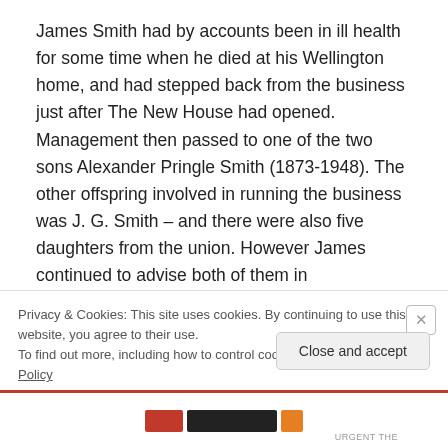James Smith had by accounts been in ill health for some time when he died at his Wellington home, and had stepped back from the business just after The New House had opened. Management then passed to one of the two sons Alexander Pringle Smith (1873-1948). The other offspring involved in running the business was J. G. Smith – and there were also five daughters from the union. However James continued to advise both of them in
Privacy & Cookies: This site uses cookies. By continuing to use this website, you agree to their use.
To find out more, including how to control cookies, see here: Cookie Policy
Close and accept